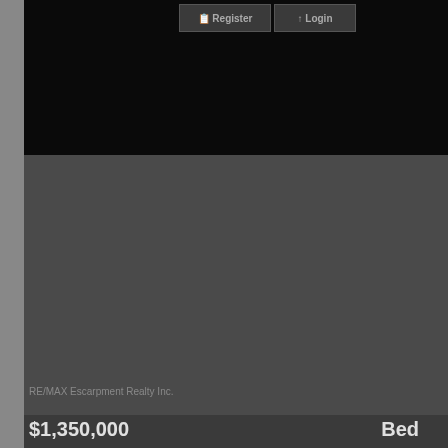[Figure (screenshot): Dark web page screenshot showing Register and Login buttons at top, a large dark property listing image area, agent name, price, and bedroom count]
RE/MAX Escarpment Realty Inc.
$1,350,000
Bed